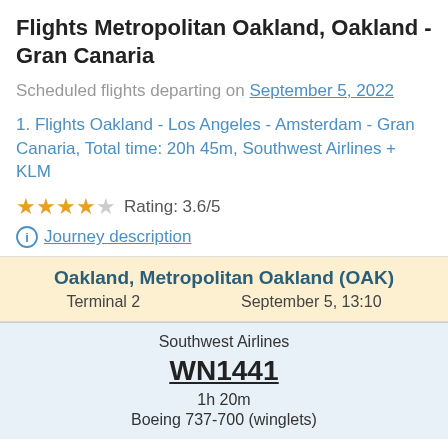Flights Metropolitan Oakland, Oakland - Gran Canaria
Scheduled flights departing on September 5, 2022
1. Flights Oakland - Los Angeles - Amsterdam - Gran Canaria, Total time: 20h 45m, Southwest Airlines + KLM
Rating: 3.6/5
Journey description
Oakland, Metropolitan Oakland (OAK)
Terminal 2    September 5, 13:10
Southwest Airlines
WN1441
1h 20m
Boeing 737-700 (winglets)